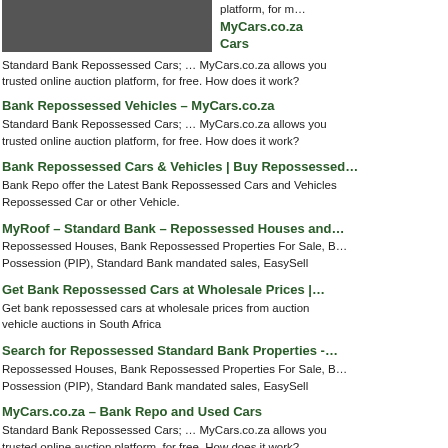[Figure (photo): Dark photo of a person holding a card or document, cropped at top of page]
platform, for m…
MyCars.co.za Cars
Standard Bank Repossessed Cars; … MyCars.co.za allows you trusted online auction platform, for free. How does it work?
Bank Repossessed Vehicles – MyCars.co.za
Standard Bank Repossessed Cars; … MyCars.co.za allows you trusted online auction platform, for free. How does it work?
Bank Repossessed Cars & Vehicles | Buy Repossessed…
Bank Repo offer the Latest Bank Repossessed Cars and Vehicles Repossessed Car or other Vehicle.
MyRoof – Standard Bank – Repossessed Houses and…
Repossessed Houses, Bank Repossessed Properties For Sale, B… Possession (PIP), Standard Bank mandated sales, EasySell
Get Bank Repossessed Cars at Wholesale Prices |…
Get bank repossessed cars at wholesale prices from auction vehicle auctions in South Africa
Search for Repossessed Standard Bank Properties -…
Repossessed Houses, Bank Repossessed Properties For Sale, B… Possession (PIP), Standard Bank mandated sales, EasySell
MyCars.co.za – Bank Repo and Used Cars
Standard Bank Repossessed Cars; … MyCars.co.za allows you trusted online auction platform, for free. How does it work?